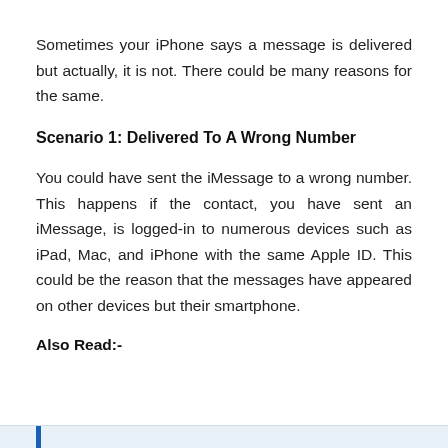Sometimes your iPhone says a message is delivered but actually, it is not. There could be many reasons for the same.
Scenario 1: Delivered To A Wrong Number
You could have sent the iMessage to a wrong number. This happens if the contact, you have sent an iMessage, is logged-in to numerous devices such as iPad, Mac, and iPhone with the same Apple ID. This could be the reason that the messages have appeared on other devices but their smartphone.
Also Read:-